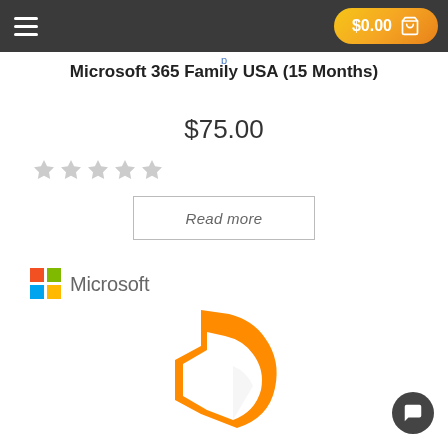$0.00 [cart icon]
Microsoft 365 Family USA (15 Months)
$75.00
[Figure (other): Five empty/grey star rating icons]
Read more
[Figure (logo): Microsoft logo with four-color Windows flag icon and 'Microsoft' text]
[Figure (logo): Microsoft Office orange bracket/document logo]